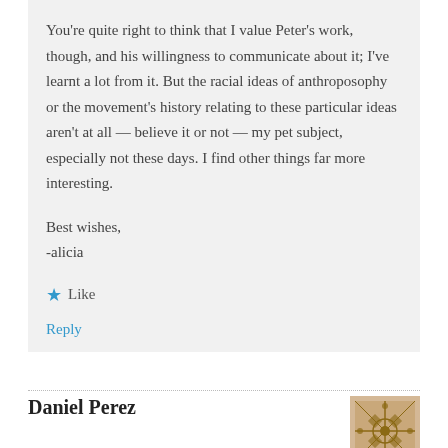You're quite right to think that I value Peter's work, though, and his willingness to communicate about it; I've learnt a lot from it. But the racial ideas of anthroposophy or the movement's history relating to these particular ideas aren't at all — believe it or not — my pet subject, especially not these days. I find other things far more interesting.
Best wishes,
-alicia
★ Like
Reply
Daniel Perez
[Figure (illustration): Avatar image for Daniel Perez — a decorative geometric/floral pattern in gold/brown tones]